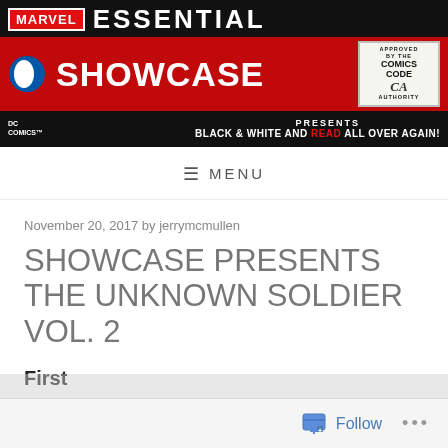[Figure (illustration): Marvel Essential Showcase comic book website banner header with DC Comics logo, Marvel Essential branding in black bar, SHOWCASE in large white text on red background, Comics Code Authority stamp, tagline BLACK & WHITE AND READ ALL OVER AGAIN!, and PRESENTS label]
≡  MENU
November 20, 2017 by jerrymcmullen
SHOWCASE PRESENTS THE UNKNOWN SOLDIER VOL. 2
First
[Figure (screenshot): Follow button bar at bottom of page with follow icon and ellipsis menu]